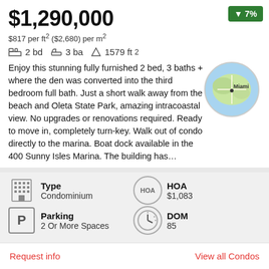$1,290,000
$817 per ft² ($2,680) per m²
2 bd  3 ba  1579 ft²
[Figure (map): Circular map thumbnail showing Miami area]
Enjoy this stunning fully furnished 2 bed, 3 baths + where the den was converted into the third bedroom full bath. Just a short walk away from the beach and Oleta State Park, amazing intracoastal view. No upgrades or renovations required. Ready to move in, completely turn-key. Walk out of condo directly to the marina. Boat dock available in the 400 Sunny Isles Marina. The building has...
Type
Condominium
HOA
$1,083
Parking
2 Or More Spaces
DOM
85
Request info
View all Condos